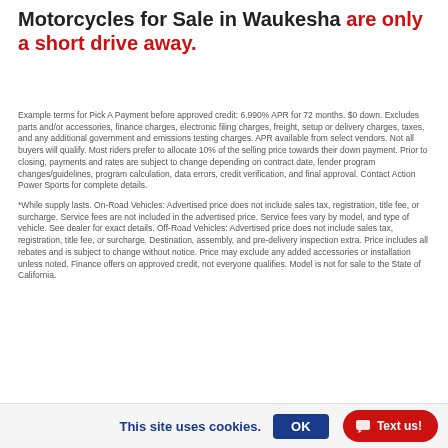Motorcycles for Sale in Waukesha are only a short drive away.
Example terms for Pick A Payment before approved credit: 6.990% APR for 72 months. $0 down. Excludes parts and/or accessories, finance charges, electronic filing charges, freight, setup or delivery charges, taxes, and any additional government and emissions testing charges. APR available from select vendors. Not all buyers will qualify. Most riders prefer to allocate 10% of the selling price towards their down payment. Prior to closing, payments and rates are subject to change depending on contract date, lender program changes/guidelines, program calculation, data errors, credit verification, and final approval. Contact Action Power Sports for complete details.
*While supply lasts. On-Road Vehicles: Advertised price does not include sales tax, registration, title fee, or surcharge. Service fees are not included in the advertised price. Service fees vary by model, and type of vehicle. See dealer for exact details. Off-Road Vehicles: Advertised price does not include sales tax, registration, title fee, or surcharge. Destination, assembly, and pre-delivery inspection extra. Price includes all rebates and is subject to change without notice. Price may exclude any added accessories or installation unless noted. Finance offers on approved credit, not everyone qualifies. Model is not for sale to the State of California.
This site uses cookies.